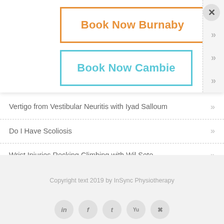[Figure (screenshot): Book Now Burnaby button with orange border, Book Now Cambie button with light blue border, overlaid on a webpage with close X button and chevron navigation elements]
Vertigo from Vestibular Neuritis with Iyad Salloum
Do I Have Scoliosis
Wrist Injuries Rocking Climbing with Wil Seto
Copyright text 2019 by InSync Physiotherapy